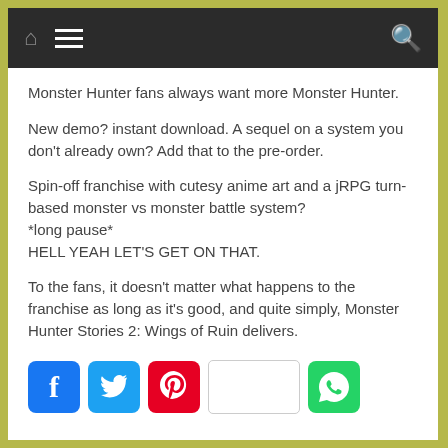Navigation bar with home, menu, and search icons
Monster Hunter fans always want more Monster Hunter.
New demo? instant download. A sequel on a system you don't already own? Add that to the pre-order.
Spin-off franchise with cutesy anime art and a jRPG turn-based monster vs monster battle system?
*long pause*
HELL YEAH LET'S GET ON THAT.
To the fans, it doesn't matter what happens to the franchise as long as it's good, and quite simply, Monster Hunter Stories 2: Wings of Ruin delivers.
[Figure (other): Social sharing buttons: Facebook, Twitter, Pinterest, blank button, WhatsApp]
Read more